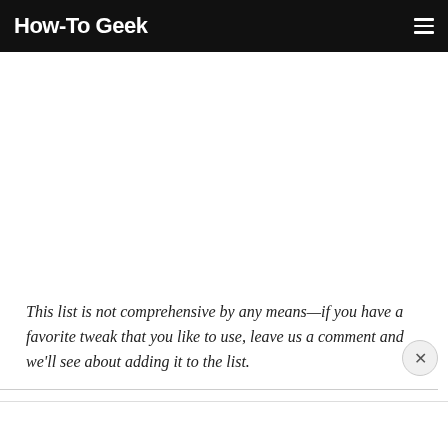How-To Geek
This list is not comprehensive by any means—if you have a favorite tweak that you like to use, leave us a comment and we'll see about adding it to the list.